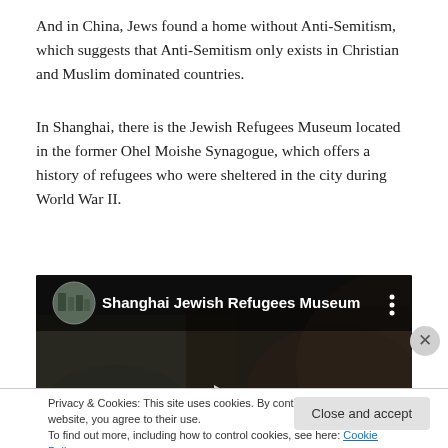And in China, Jews found a home without Anti-Semitism, which suggests that Anti-Semitism only exists in Christian and Muslim dominated countries.
In Shanghai, there is the Jewish Refugees Museum located in the former Ohel Moishe Synagogue, which offers a history of refugees who were sheltered in the city during World War II.
[Figure (screenshot): Embedded video thumbnail for 'Shanghai Jewish Refugees Museum' showing a dark scene with people, with a play button overlay and a three-dot menu icon.]
Privacy & Cookies: This site uses cookies. By continuing to use this website, you agree to their use. To find out more, including how to control cookies, see here: Cookie Policy